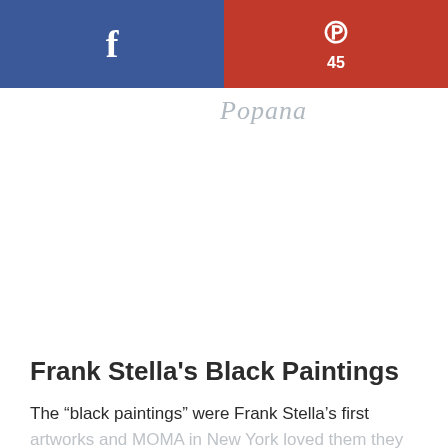[Figure (infographic): Social sharing buttons: Facebook (blue) on left, Pinterest (red) with count 45 on right]
[Figure (logo): Cursive script logo/signature in light gray]
Frank Stella's Black Paintings
The “black paintings” were Frank Stella’s first artworks and MOMA in New York loved them they bought some to exhibit as examples of the new